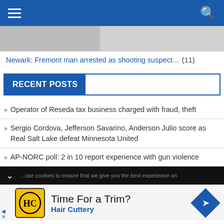Navigation bar with menu and search icons
[Figure (photo): Partial article image showing what appears to be papers or documents]
Newark: Fremont man arrested as shooting suspect… (11)
RECENT POSTS
Operator of Reseda tax business charged with fraud, theft
Sergio Cordova, Jefferson Savarino, Anderson Julio score as Real Salt Lake defeat Minnesota United
AP-NORC poll: 2 in 10 report experience with gun violence
…use cookies to ensure that we give you the best experience on
[Figure (logo): Hair Cuttery logo - HC letters in yellow circle]
Time For a Trim? Hair Cuttery